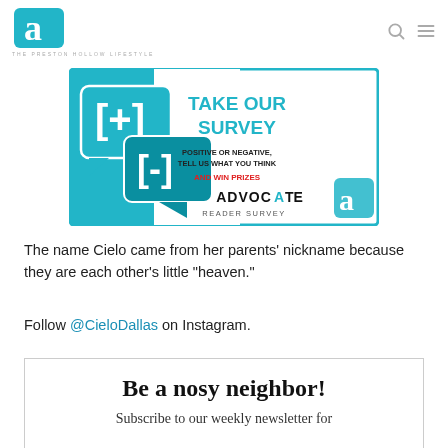THE PRESTON HOLLOW LIFESTYLE
[Figure (infographic): Take Our Survey ad banner. Teal/cyan border box with speech bubble icons containing [+] and [-]. Text: TAKE OUR SURVEY / POSITIVE OR NEGATIVE, TELL US WHAT YOU THINK / AND WIN PRIZES / ADVOCATE READER SURVEY]
The name Cielo came from her parents' nickname because they are each other's little “heaven.”
Follow @CieloDallas on Instagram.
Be a nosy neighbor! Subscribe to our weekly newsletter for